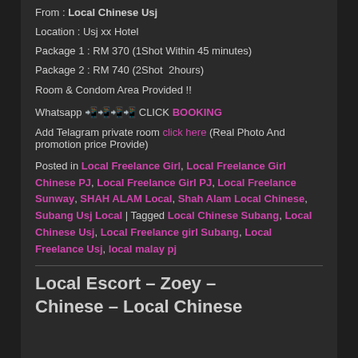From : Local Chinese Usj
Location : Usj xx Hotel
Package 1 : RM 370 (1Shot Within 45 minutes)
Package 2 : RM 740 (2Shot  2hours)
Room & Condom Area Provided !!
Whatsapp 📲📲📲📲 CLICK BOOKING
Add Telagram private room click here (Real Photo And promotion price Provide)
Posted in Local Freelance Girl, Local Freelance Girl Chinese PJ, Local Freelance Girl PJ, Local Freelance Sunway, SHAH ALAM Local, Shah Alam Local Chinese, Subang Usj Local | Tagged Local Chinese Subang, Local Chinese Usj, Local Freelance girl Subang, Local Freelance Usj, local malay pj
Local Escort – Zoey – Chinese – Local Chinese